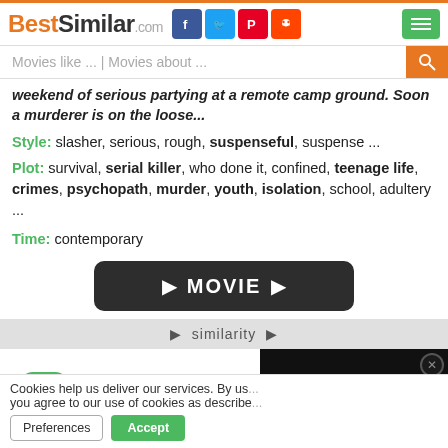BestSimilar.com
Movies like ... | Movies about ...
weekend of serious partying at a remote camp ground. Soon a murderer is on the loose...
Style: slasher, serious, rough, suspenseful, suspense ...
Plot: survival, serial killer, who done it, confined, teenage life, crimes, psychopath, murder, youth, isolation, school, adultery ...
Time: contemporary
[Figure (screenshot): Dark rounded button with play arrows and text MOVIE]
# similarity #
[Figure (screenshot): Black video player panel with teal icon]
Cookies help us deliver our services. By us... you agree to our use of cookies as describe...
Preferences | Accept